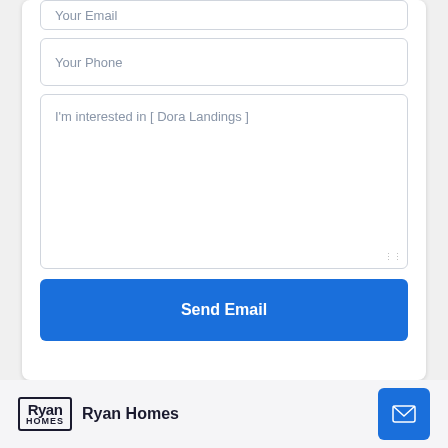Your Email
Your Phone
I'm interested in [ Dora Landings ]
Send Email
[Figure (logo): Ryan Homes logo with stylized 'Ryan' text and 'Homes' below]
Ryan Homes
[Figure (infographic): Blue email/envelope icon button]